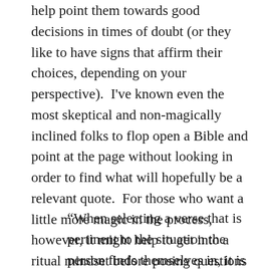help point them towards good decisions in times of doubt (or they like to have signs that affirm their choices, depending on your perspective).  I've known even the most skeptical and non-magically inclined folks to flop open a Bible and point at the page without looking in order to find what will hopefully be a relevant quote.  For those who want a little more magic in the process, however, it might help to get into a ritual mindset before posing questions to the Divine.  In Draja Mickaharic's Magical Spells of the Minor Prophets, he notes:
“When selecting a verse that is pertinent to the situation the person finds themselves in, it is generally necessary that the person looking for the verse compose themselves